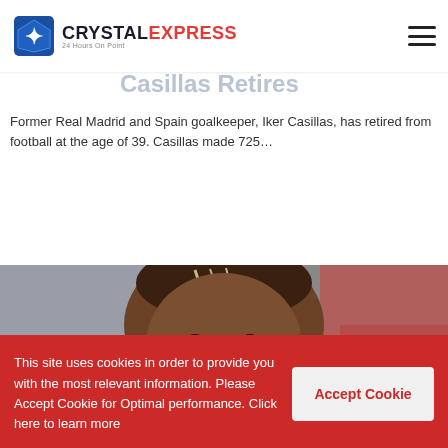Crystal Express
Casillas Retires
Former Real Madrid and Spain goalkeeper, Iker Casillas, has retired from football at the age of 39. Casillas made 725…
Read More »
[Figure (photo): Close-up portrait of a Black male footballer with braided hair, smiling, wearing a blue jacket. Blurred background.]
This site uses cookies in order to provide you with the most relevant information. Please Accept Cookie for Optimal performance. Click here to learn more